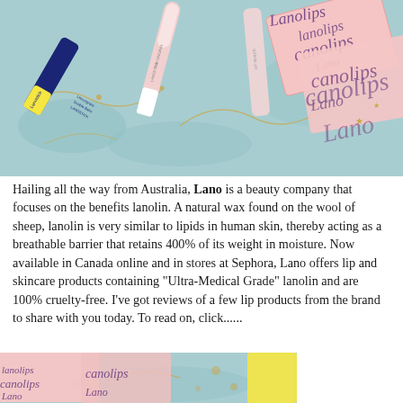[Figure (photo): Flat lay photo of Lano/Lanolips lip balm products including Lanostick and other lip products arranged on a light blue background with Lanolips branded packaging boxes visible]
Hailing all the way from Australia, Lano is a beauty company that focuses on the benefits lanolin. A natural wax found on the wool of sheep, lanolin is very similar to lipids in human skin, thereby acting as a breathable barrier that retains 400% of its weight in moisture. Now available in Canada online and in stores at Sephora, Lano offers lip and skincare products containing "Ultra-Medical Grade" lanolin and are 100% cruelty-free. I've got reviews of a few lip products from the brand to share with you today. To read on, click......
[Figure (photo): Partial photo showing Lano/Lanolips branded packaging boxes on a light blue background with gold map patterns]